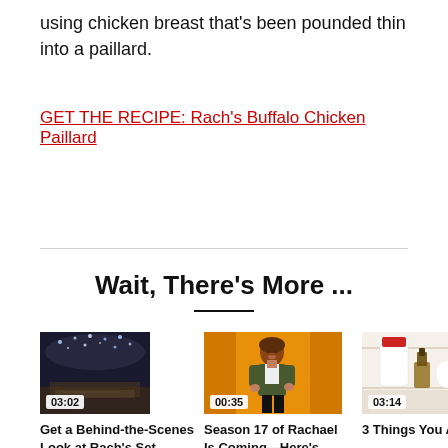using chicken breast that's been pounded thin into a paillard.
GET THE RECIPE: Rach's Buffalo Chicken Paillard
Wait, There's More ...
[Figure (photo): Thumbnail of a studio set with decorative ceiling, duration badge 03:02]
Get a Behind-the-Scenes Look at Rach's Set Design for In-Studio
[Figure (photo): Thumbnail of Rachael Ray on orange background, duration badge 00:35]
Season 17 of Rachael Is Coming—Here's When!
Aug. 1 2022
[Figure (photo): Thumbnail of medicine cabinet items, duration badge 03:14]
3 Things You Add to Your Cabinet, Acco